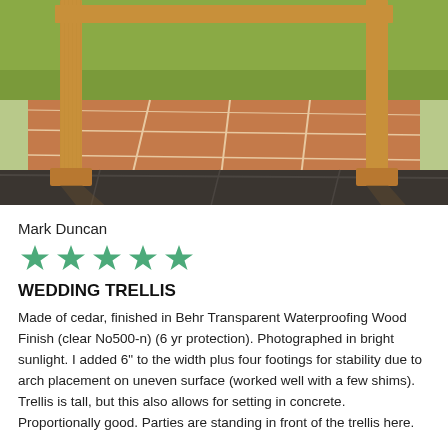[Figure (photo): Outdoor wooden wedding trellis arch on a stone patio with flagstone pavers in sunlight, green lawn visible in background]
Mark Duncan
[Figure (other): 5 green star rating icons]
WEDDING TRELLIS
Made of cedar, finished in Behr Transparent Waterproofing Wood Finish (clear No500-n) (6 yr protection). Photographed in bright sunlight. I added 6" to the width plus four footings for stability due to arch placement on uneven surface (worked well with a few shims). Trellis is tall, but this also allows for setting in concrete. Proportionally good. Parties are standing in front of the trellis here.